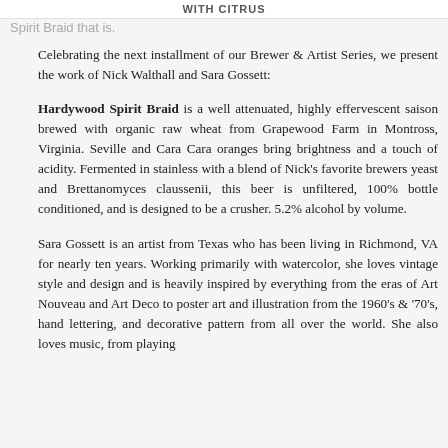with Citrus
Spirit Braid that is.
Celebrating the next installment of our Brewer & Artist Series, we present the work of Nick Walthall and Sara Gossett:
Hardywood Spirit Braid is a well attenuated, highly effervescent saison brewed with organic raw wheat from Grapewood Farm in Montross, Virginia. Seville and Cara Cara oranges bring brightness and a touch of acidity. Fermented in stainless with a blend of Nick’s favorite brewers yeast and Brettanomyces claussenii, this beer is unfiltered, 100% bottle conditioned, and is designed to be a crusher. 5.2% alcohol by volume.
Sara Gossett is an artist from Texas who has been living in Richmond, VA for nearly ten years. Working primarily with watercolor, she loves vintage style and design and is heavily inspired by everything from the eras of Art Nouveau and Art Deco to poster art and illustration from the 1960’s & ‘70’s, hand lettering, and decorative pattern from all over the world. She also loves music, from playing